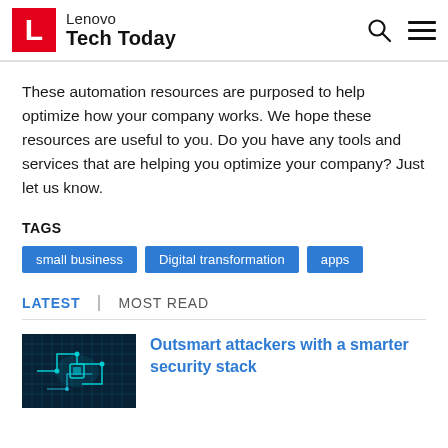Lenovo Tech Today
These automation resources are purposed to help optimize how your company works. We hope these resources are useful to you. Do you have any tools and services that are helping you optimize your company? Just let us know.
TAGS
small business
Digital transformation
apps
LATEST | MOST READ
[Figure (photo): Dark tech/cybersecurity themed image with blue circuit board patterns]
Outsmart attackers with a smarter security stack